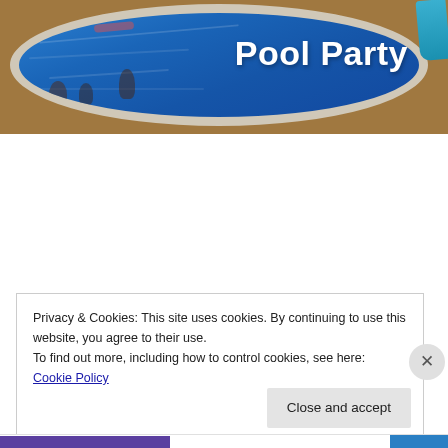[Figure (photo): Aerial view of a round above-ground swimming pool with people swimming, surrounded by wooden deck. White text 'Pool Party' overlaid on the image.]
Privacy & Cookies: This site uses cookies. By continuing to use this website, you agree to their use.
To find out more, including how to control cookies, see here: Cookie Policy
Close and accept